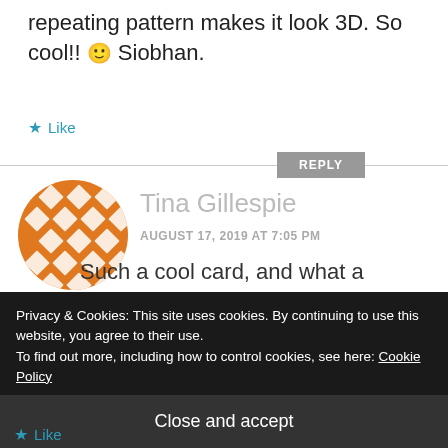repeating pattern makes it look 3D. So cool!! 🙂 Siobhan.
★ Like
REPLY
[Figure (illustration): Orange circular avatar with white diamond/rhombus repeating pattern for user Tina Gillespie]
Tina Gillespie
AUGUST 17, 2019 AT 7:05 PM
Such a cool card, and what a
Privacy & Cookies: This site uses cookies. By continuing to use this website, you agree to their use.
To find out more, including how to control cookies, see here: Cookie Policy
Close and accept
★ Like